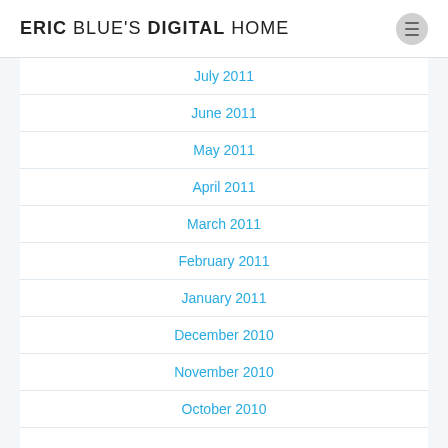ERIC BLUE'S DIGITAL HOME
July 2011
June 2011
May 2011
April 2011
March 2011
February 2011
January 2011
December 2010
November 2010
October 2010